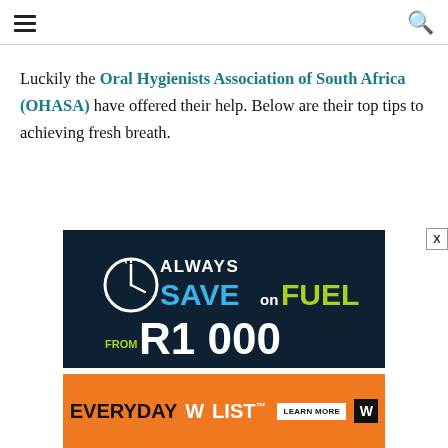Luckily the Oral Hygienists Association of South Africa (OHASA) have offered their help. Below are their top tips to achieving fresh breath.
[Figure (infographic): Dark navy blue advertisement for 'Always Save on Fuel' featuring a clock icon, colorful text with SAVE in blue and FUEL in green, and a partial price starting with 'R' at the bottom.]
[Figure (infographic): Orange advertisement banner for 'Everyday WList' with a 'Learn More' button and W logo.]